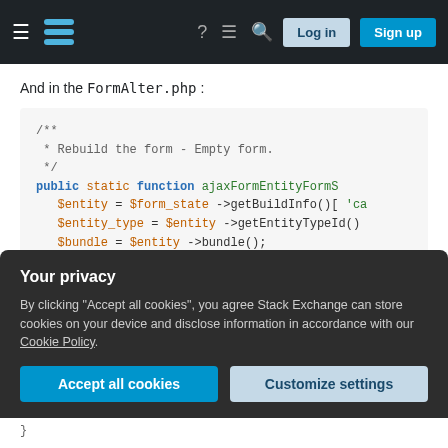[Figure (screenshot): Stack Exchange navigation bar with hamburger menu, logo, icons, Log in and Sign up buttons]
And in the FormAlter.php :
[Figure (screenshot): PHP code block showing a function stub: /** * Rebuild the form - Empty form. */ public static function ajaxFormEntityFormS $entity = $form_state->getBuildInfo()['ca $entity_type = $entity->getEntityTypeId() $bundle = $entity->bundle(); $new_entity = \Drupal::entityTypeManager( $form_state->getBuildInfo()['callback_obj // Clear user input]
Your privacy
By clicking "Accept all cookies", you agree Stack Exchange can store cookies on your device and disclose information in accordance with our Cookie Policy.
Accept all cookies
Customize settings